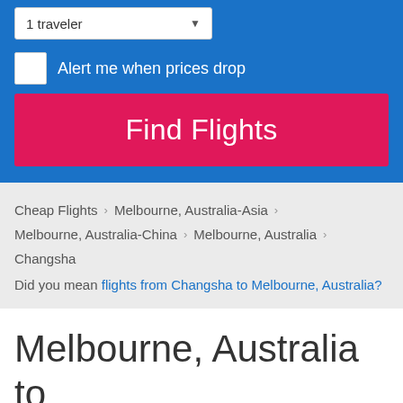1 traveler
Alert me when prices drop
Find Flights
Cheap Flights > Melbourne, Australia-Asia > Melbourne, Australia-China > Melbourne, Australia > Changsha
Did you mean flights from Changsha to Melbourne, Australia?
Melbourne, Australia to Changsha